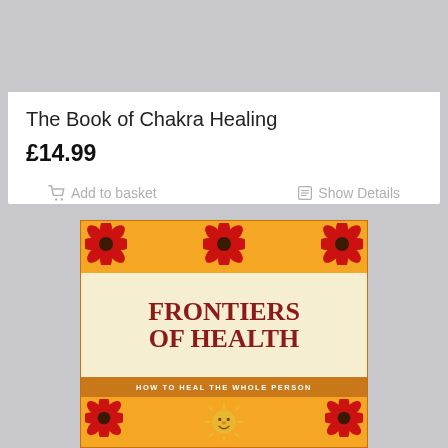[Figure (screenshot): Top portion of book product page showing book title 'The Book of Chakra Healing' priced at £14.99 with Add to basket and Show Details buttons]
The Book of Chakra Healing
£14.99
Add to basket
Show Details
[Figure (photo): Book cover of 'Frontiers of Health: How to Heal the Whole Person' with orange background, red flowers in corners, and sun face illustration at bottom]